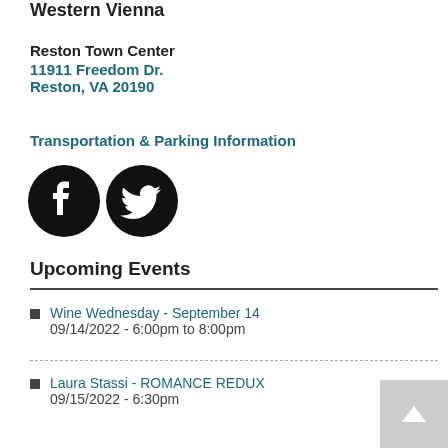Western Vienna
Reston Town Center
11911 Freedom Dr.
Reston, VA 20190
Transportation & Parking Information
[Figure (other): Facebook and Twitter social media icons (black circles with white logos)]
Upcoming Events
Wine Wednesday - September 14
09/14/2022 - 6:00pm to 8:00pm
Laura Stassi - ROMANCE REDUX
09/15/2022 - 6:30pm